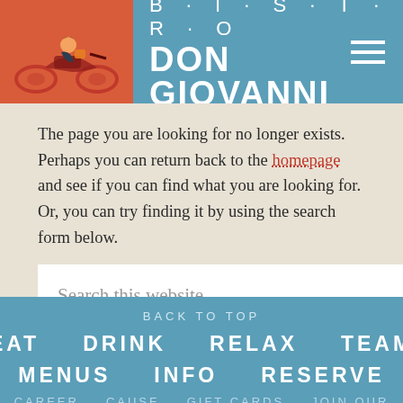[Figure (logo): Bistro Don Giovanni logo with illustration of a person on a scooter on an orange/red background, and restaurant name text on a blue background]
The page you are looking for no longer exists. Perhaps you can return back to the homepage and see if you can find what you are looking for. Or, you can try finding it by using the search form below.
Search this website
SEARCH
BACK TO TOP  EAT  DRINK  RELAX  TEAM  MENUS  INFO  RESERVE  CAREER  CAUSE  GIFT CARDS  JOIN OUR